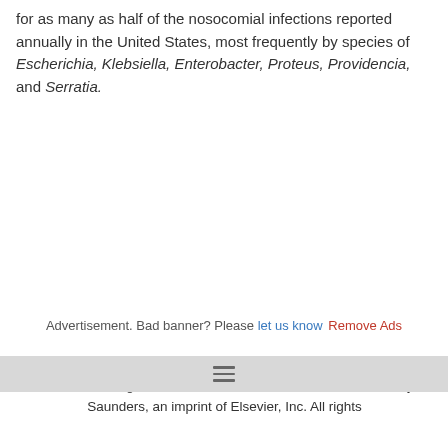for as many as half of the nosocomial infections reported annually in the United States, most frequently by species of Escherichia, Klebsiella, Enterobacter, Proteus, Providencia, and Serratia.
Advertisement. Bad banner? Please let us know Remove Ads
"CITE" Miller-Keane Encyclopedia and Dictionary of Medicine, Nursing, and Allied Health, Seventh Edition. © 2003 by Saunders, an imprint of Elsevier, Inc. All rights